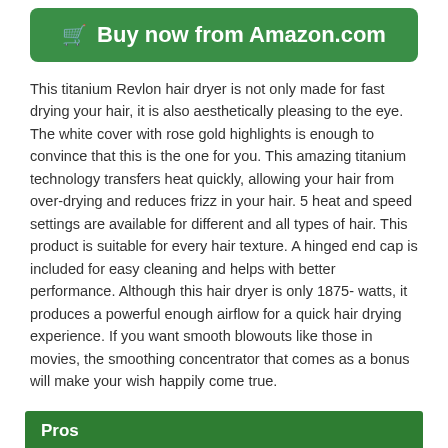[Figure (other): Green rounded button with shopping cart icon and text 'Buy now from Amazon.com']
This titanium Revlon hair dryer is not only made for fast drying your hair, it is also aesthetically pleasing to the eye. The white cover with rose gold highlights is enough to convince that this is the one for you. This amazing titanium technology transfers heat quickly, allowing your hair from over-drying and reduces frizz in your hair. 5 heat and speed settings are available for different and all types of hair. This product is suitable for every hair texture. A hinged end cap is included for easy cleaning and helps with better performance. Although this hair dryer is only 1875- watts, it produces a powerful enough airflow for a quick hair drying experience. If you want smooth blowouts like those in movies, the smoothing concentrator that comes as a bonus will make your wish happily come true.
Pros
Has a nice color